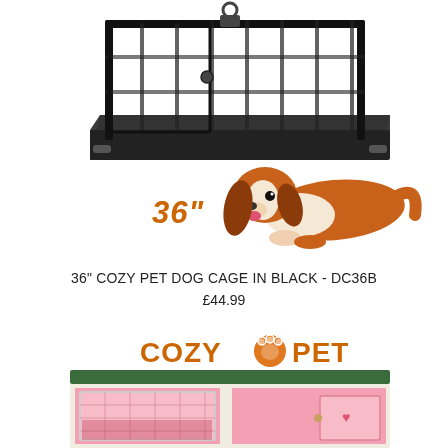[Figure (photo): Black wire dog cage/crate with a plastic tray base and a Cavalier King Charles Spaniel dog lying beside it, with '36"' text label in orange italic font]
36" COZY PET DOG CAGE IN BLACK - DC36B
£44.99
[Figure (logo): Cozy Pet logo in orange bold text with an orange paw print icon between 'COZY' and 'PET']
[Figure (photo): Pink and white wooden rabbit/guinea pig hutch with a green roof, featuring wire mesh door panels and a small heart decoration]